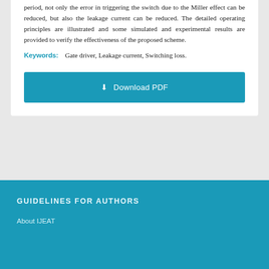period, not only the error in triggering the switch due to the Miller effect can be reduced, but also the leakage current can be reduced. The detailed operating principles are illustrated and some simulated and experimental results are provided to verify the effectiveness of the proposed scheme.
Keywords: Gate driver, Leakage current, Switching loss.
[Figure (other): Download PDF button]
GUIDELINES FOR AUTHORS
About IJEAT